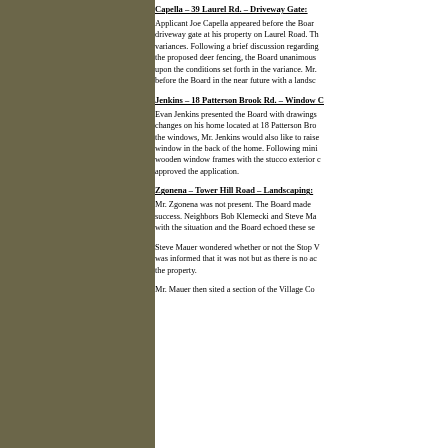Capella – 39 Laurel Rd. – Driveway Gate:
Applicant Joe Capella appeared before the Board requesting a driveway gate at his property on Laurel Road. Th... variances. Following a brief discussion regarding the proposed deer fencing, the Board unanimous... upon the conditions set forth in the variance. Mr. before the Board in the near future with a landsca...
Jenkins – 18 Patterson Brook Rd. – Window C...
Evan Jenkins presented the Board with drawings... changes on his home located at 18 Patterson Br... the windows, Mr. Jenkins would also like to raise window in the back of the home. Following mini... wooden window frames with the stucco exterior c... approved the application.
Zgonena – Tower Hill Road – Landscaping:
Mr. Zgonena was not present. The Board made success. Neighbors Bob Klemecki and Steve Ma... with the situation and the Board echoed these se...
Steve Mauer wondered whether or not the Stop V... was informed that it was not but as there is no ac... the property.
Mr. Mauer then sited a section of the Village Co...